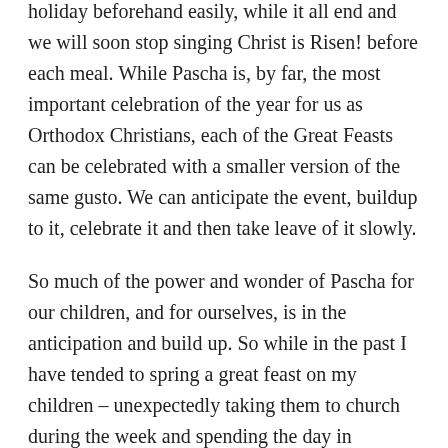holiday beforehand easily, while it all end and we will soon stop singing Christ is Risen! before each meal. While Pascha is, by far, the most important celebration of the year for us as Orthodox Christians, each of the Great Feasts can be celebrated with a smaller version of the same gusto. We can anticipate the event, buildup to it, celebrate it and then take leave of it slowly.
So much of the power and wonder of Pascha for our children, and for ourselves, is in the anticipation and build up. So while in the past I have tended to spring a great feast on my children – unexpectedly taking them to church during the week and spending the day in celebration – I am hoping to be more intentional and spend the week in a mini-anticipation of the event.